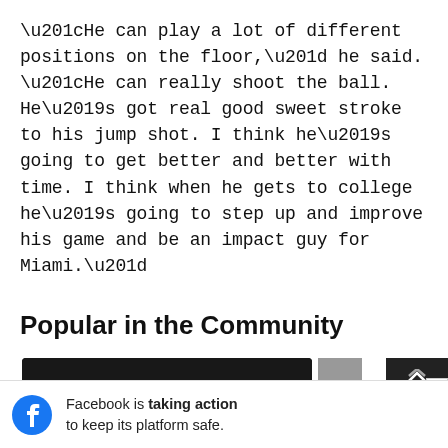“He can play a lot of different positions on the floor,” he said. “He can really shoot the ball. He’s got real good sweet stroke to his jump shot. I think he’s going to get better and better with time. I think when he gets to college he’s going to step up and improve his game and be an impact guy for Miami.”
Popular in the Community
[Figure (photo): A basketball player in front of a 'TOP 5' illuminated sign, with a caption starting 'Four-star point guard Trey']
Facebook is taking action to keep its platform safe.